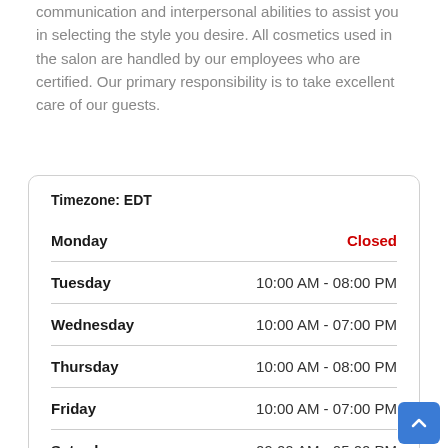communication and interpersonal abilities to assist you in selecting the style you desire. All cosmetics used in the salon are handled by our employees who are certified. Our primary responsibility is to take excellent care of our guests.
| Day | Hours |
| --- | --- |
| Monday | Closed |
| Tuesday | 10:00 AM - 08:00 PM |
| Wednesday | 10:00 AM - 07:00 PM |
| Thursday | 10:00 AM - 08:00 PM |
| Friday | 10:00 AM - 07:00 PM |
| Saturday | 09:00 AM - 05:00 PM |